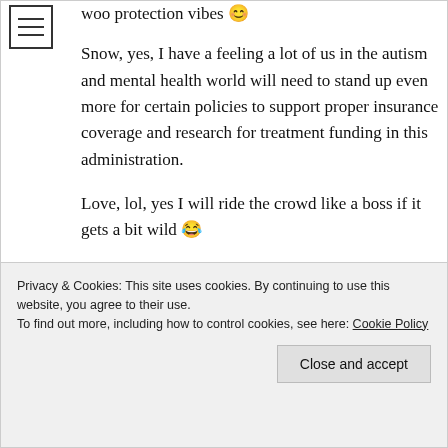woo protection vibes 😊
Snow, yes, I have a feeling a lot of us in the autism and mental health world will need to stand up even more for certain policies to support proper insurance coverage and research for treatment funding in this administration.
Love, lol, yes I will ride the crowd like a boss if it gets a bit wild 😂
It's an adventure indeed!! Love
Privacy & Cookies: This site uses cookies. By continuing to use this website, you agree to their use.
To find out more, including how to control cookies, see here: Cookie Policy
Close and accept